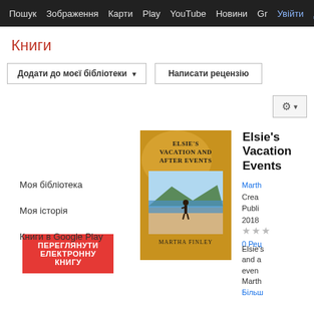Пошук  Зображення  Карти  Play  YouTube  Новини  Gr  Увійти  ⚙  Б
Книги
Додати до моєї бібліотеки ▾
Написати рецензію
⚙ ▾
ПЕРЕГЛЯНУТИ ЕЛЕКТРОННУ КНИГУ
Моя бібліотека
Моя історія
Книги в Google Play
[Figure (illustration): Book cover of Elsie's Vacation and After Events by Martha Finley. Golden/yellow cover with text and photo of person on a beach.]
Elsie's Vacation Events
Martha Finley
Created
Published 2018
★★★
0 Рецензій
Elsie's vacation and after events Martha
Більше